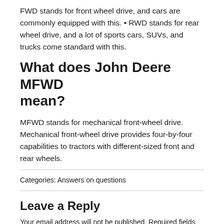FWD stands for front wheel drive, and cars are commonly equipped with this. • RWD stands for rear wheel drive, and a lot of sports cars, SUVs, and trucks come standard with this.
What does John Deere MFWD mean?
MFWD stands for mechanical front-wheel drive. Mechanical front-wheel drive provides four-by-four capabilities to tractors with different-sized front and rear wheels.
Categories: Answers on questions
Leave a Reply
Your email address will not be published. Required fields are